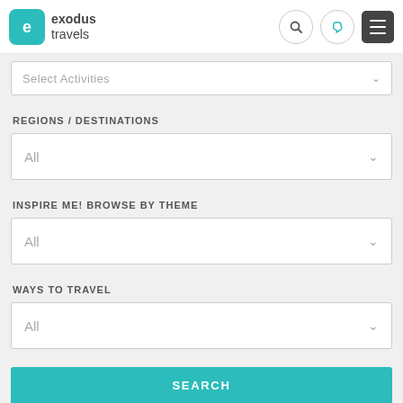[Figure (logo): Exodus Travels logo with teal rounded square icon containing letter 'e' and company name text]
Select Activities
REGIONS / DESTINATIONS
All
INSPIRE ME! BROWSE BY THEME
All
WAYS TO TRAVEL
All
SEARCH